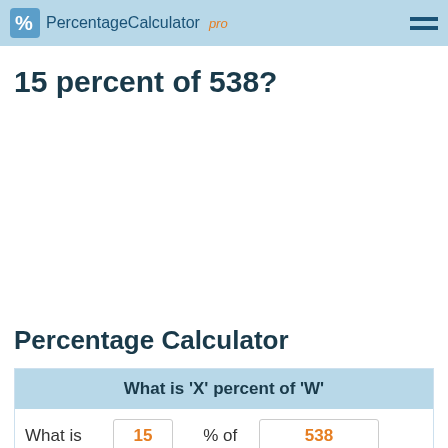PercentageCalculator pro
15 percent of 538?
Percentage Calculator
| What is 'X' percent of 'W' |
| --- |
| What is | 15 | % of | 538 |